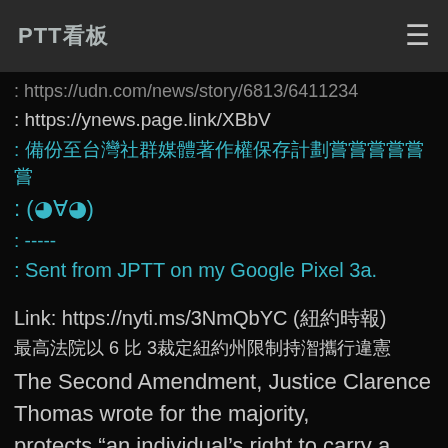PTT看板
: https://udn.com/news/story/6813/6411234
: https://ynews.page.link/XBbV
: 本文章已備份至台灣社群媒體著作權保存計劃
: (◕∀◕)
: -----
: Sent from JPTT on my Google Pixel 3a.
Link: https://nyti.ms/3NmQbYC (紐約時報)
最高法院以 6 比 3裁定紐約州限制持槍攜行違憲
The Second Amendment, Justice Clarence Thomas wrote for the majority, protects "an individual's right to carry a handgun